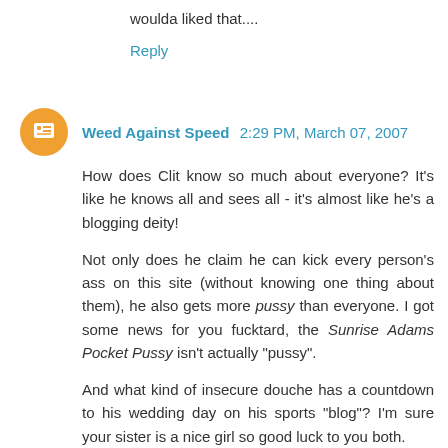woulda liked that....
Reply
Weed Against Speed  2:29 PM, March 07, 2007
How does Clit know so much about everyone? It's like he knows all and sees all - it's almost like he's a blogging deity!
Not only does he claim he can kick every person's ass on this site (without knowing one thing about them), he also gets more pussy than everyone. I got some news for you fucktard, the Sunrise Adams Pocket Pussy isn't actually "pussy".
And what kind of insecure douche has a countdown to his wedding day on his sports "blog"? I'm sure your sister is a nice girl so good luck to you both.
And with that, I'm done wasting my time on such a pathetic, bigoted loser.